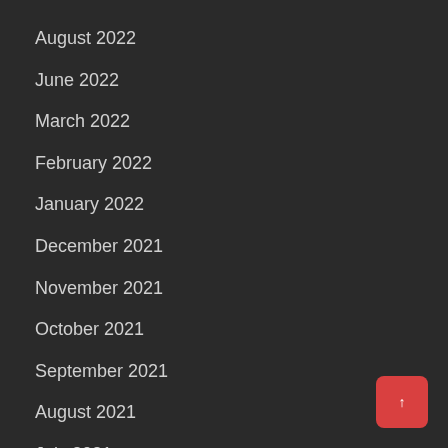August 2022
June 2022
March 2022
February 2022
January 2022
December 2021
November 2021
October 2021
September 2021
August 2021
July 2021
June 2021